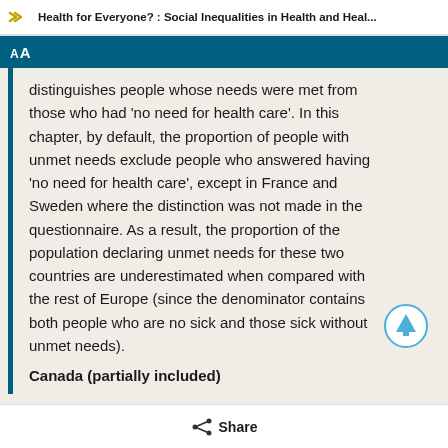Health for Everyone? : Social Inequalities in Health and Heal...
distinguishes people whose needs were met from those who had 'no need for health care'. In this chapter, by default, the proportion of people with unmet needs exclude people who answered having 'no need for health care', except in France and Sweden where the distinction was not made in the questionnaire. As a result, the proportion of the population declaring unmet needs for these two countries are underestimated when compared with the rest of Europe (since the denominator contains both people who are no sick and those sick without unmet needs).
Canada (partially included)